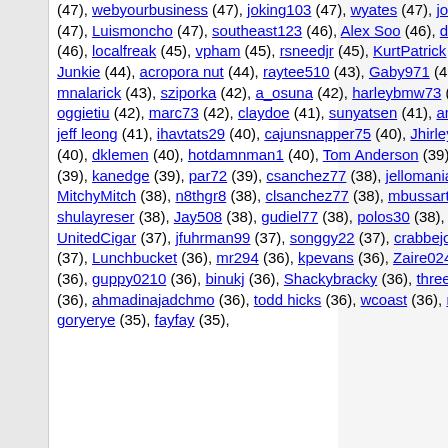(47), webyourbusiness (47), joking103 (47), wyates (47), josp1 (47), themaddog (47), Luismoncho (47), southeast123 (46), Alex Soo (46), davecoetzee (46), tagie (46), localfreak (45), vpham (45), rsneedjr (45), KurtPatrick (45), loki4242 (45), SPS Junkie (44), acropora nut (44), raytee510 (43), Gaby971 (43), moonbeam (43), mnalarick (43), sziporka (42), a_osuna (42), harleybmw73 (42), ScottC1073 (42), oggietiu (42), marc73 (42), claydoe (41), sunyatsen (41), amitex (41), Carmel (41), jeff leong (41), ihavtats29 (40), cajunsnapper75 (40), Jhirley (40), Shannonsreef (40), dklemen (40), hotdamnman1 (40), Tom Anderson (39), crabbyKris (39), ccavins (39), kanedge (39), par72 (39), csanchez77 (38), jellomania (38), jaxspsreef (38), MitchyMitch (38), n8thgr8 (38), clsanchez77 (38), mbussart (38), NoobFish (38), shulayreser (38), Jay508 (38), gudiel77 (38), polos30 (38), adamhooks (37), UnitedCigar (37), jfuhrman99 (37), songgy22 (37), crabbejoe (37), Vitor Rosado (37), Lunchbucket (36), mr294 (36), kpevans (36), Zaire024 (36), greencardgraphics (36), guppy0210 (36), binukj (36), Shackybracky (36), three_faces (36), khrisstian (36), ahmadinajadchmo (36), todd hicks (36), wcoast (36), rodzuf (35), Tekno (35), goryerye (35), fayfay (35),